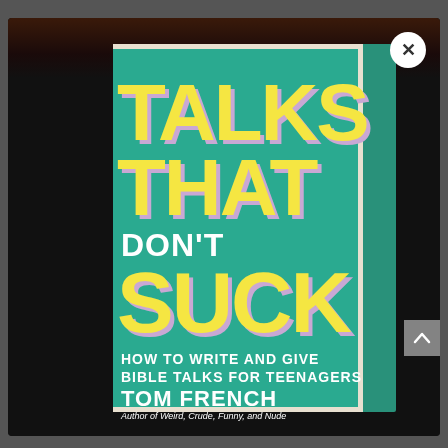[Figure (photo): A book cover displayed in a modal/lightbox overlay on a dark background. The book is titled 'Talks That Don't Suck - How to Write and Give Bible Talks for Teenagers' by Tom French, Author of Weird, Crude, Funny, and Nude. The cover is teal/turquoise with large yellow bold letters with lavender shadow effect. A white circular close button with an X is in the upper right corner.]